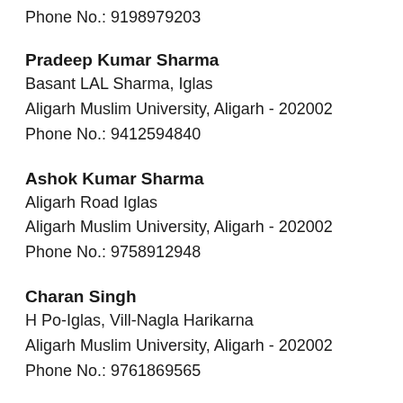Phone No.: 9198979203
Pradeep Kumar Sharma
Basant LAL Sharma, Iglas
Aligarh Muslim University, Aligarh - 202002
Phone No.: 9412594840
Ashok Kumar Sharma
Aligarh Road Iglas
Aligarh Muslim University, Aligarh - 202002
Phone No.: 9758912948
Charan Singh
H Po-Iglas, Vill-Nagla Harikarna
Aligarh Muslim University, Aligarh - 202002
Phone No.: 9761869565